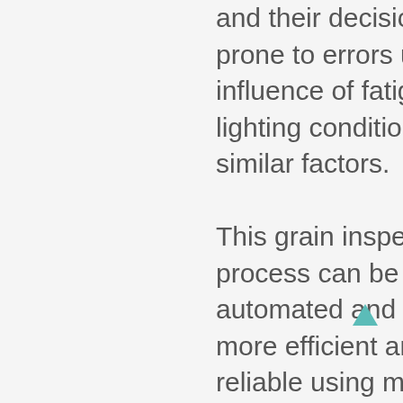and their decisions are prone to errors under the influence of fatigue, poor lighting conditions and similar factors.

This grain inspection process can be automated and made more efficient and reliable using modern imaging technologies based on high spatial and spectral resolution cameras, with the help of robust computer vision algorithms. Grain properties related to grain shape, texture and color can be obtained using high-resolution RGB images, and spectral information, crucial in